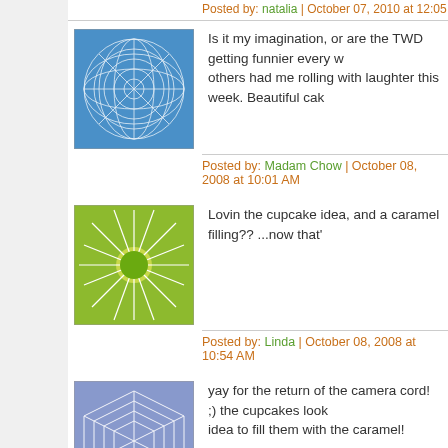Posted by: Madam Chow | October 08, 2008 at 10:01 AM (partial top)
Is it my imagination, or are the TWD getting funnier every w... others had me rolling with laughter this week. Beautiful cak...
Posted by: Madam Chow | October 08, 2008 at 10:01 AM
Lovin the cupcake idea, and a caramel filling?? ...now that'
Posted by: Linda | October 08, 2008 at 10:54 AM
yay for the return of the camera cord! ;) the cupcakes look... idea to fill them with the caramel!
Posted by: kim | October 08, 2008 at 11:18 AM
Ciao Teanna I love your mini cakes ! Actually I loved the ca... peanuts ( menomale !SO I didn't it too much of it !) and the... grazie for your comment !
Posted by: natalia | October 08, 2008 at 11:49 AM